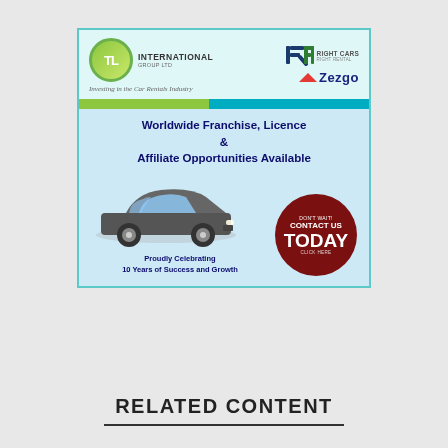[Figure (infographic): Advertisement banner for TL International Group Ltd and Right Cars / Zezgo. Top section shows TL logo with tagline 'Investing in the Car Rentals Industry' and RC/Zezgo logos. A green/teal stripe separator. Main section on light blue background reads 'Worldwide Franchise, Licence & Affiliate Opportunities Available' in dark blue bold. Shows a grey sedan car. Red circle button reads 'DON'T WAIT! CONTACT US TODAY CLICK HERE'. Bottom text: 'Proudly Celebrating 10 Years of Success and Growth'.]
RELATED CONTENT